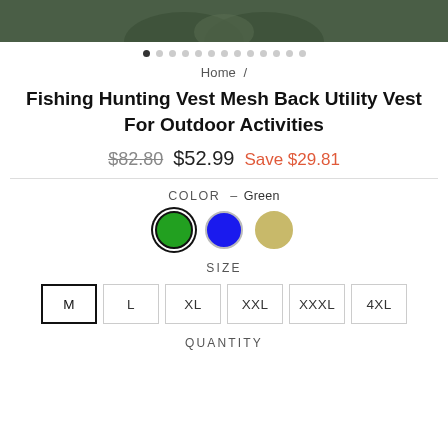[Figure (photo): Top portion of a fishing/hunting vest product image cropped at top edge]
[Figure (infographic): Carousel pagination dots, first dot filled/active, 12 more grey dots]
Home /
Fishing Hunting Vest Mesh Back Utility Vest For Outdoor Activities
$82.80  $52.99  Save $29.81
COLOR — Green
[Figure (infographic): Three color swatches: green (selected with border), blue, tan/gold]
SIZE
M  L  XL  XXL  XXXL  4XL
QUANTITY